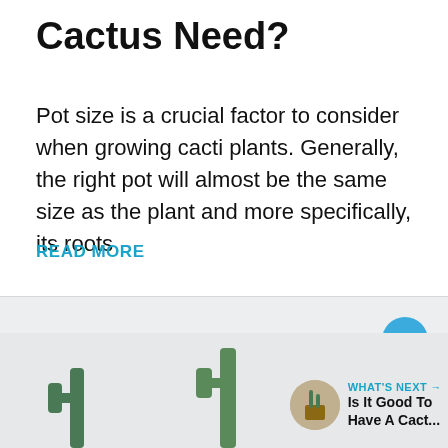Cactus Need?
Pot size is a crucial factor to consider when growing cacti plants. Generally, the right pot will almost be the same size as the plant and more specifically, its roots
READ MORE
[Figure (photo): Bottom section showing a grey/light background with cactus plant silhouettes, social interaction buttons (like heart button with count 24, share button), and a 'What's Next' widget showing 'Is It Good To Have A Cact...']